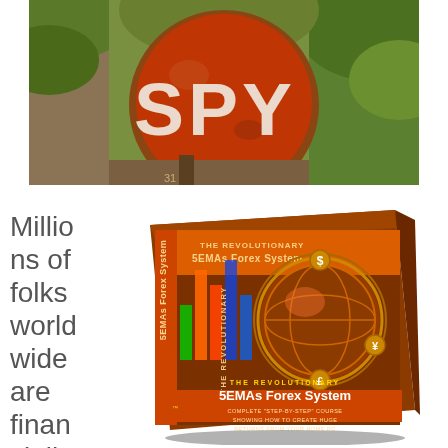[Figure (photo): Circular orange SPY sign with white letters, mounted on a pole, surrounded by green trees/bamboo in background]
Millions of folks world wide are financially strained or
[Figure (photo): Product box for 'The Revolutionary 5EMAs Forex System' - an orange and brown box featuring a globe with currency symbols, bar chart graphics, text reading 'Complete Step-by-Step Course Showing How to Create Huge Returns From Your Home PC']